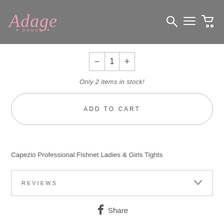Adage Dance
1
Only 2 items in stock!
ADD TO CART
Capezio Professional Fishnet Ladies & Girls Tights
REVIEWS
Share